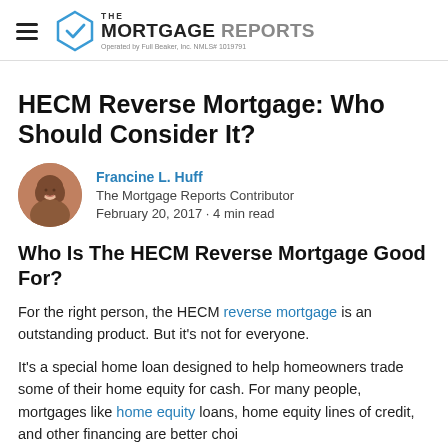THE MORTGAGE REPORTS — Operated by Full Beaker, Inc. NMLS# 1019791
HECM Reverse Mortgage: Who Should Consider It?
Francine L. Huff — The Mortgage Reports Contributor — February 20, 2017 - 4 min read
Who Is The HECM Reverse Mortgage Good For?
For the right person, the HECM reverse mortgage is an outstanding product. But it's not for everyone.
It's a special home loan designed to help homeowners trade some of their home equity for cash. For many people, mortgages like home equity loans, home equity lines of credit, and other financing are better choices.